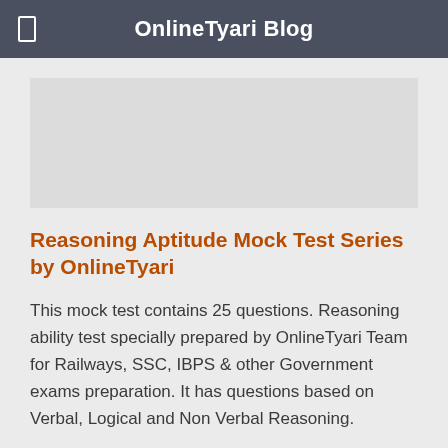OnlineTyari Blog
Reasoning Aptitude Mock Test Series by OnlineTyari
This mock test contains 25 questions. Reasoning ability test specially prepared by OnlineTyari Team for Railways, SSC, IBPS & other Government exams preparation. It has questions based on Verbal, Logical and Non Verbal Reasoning.